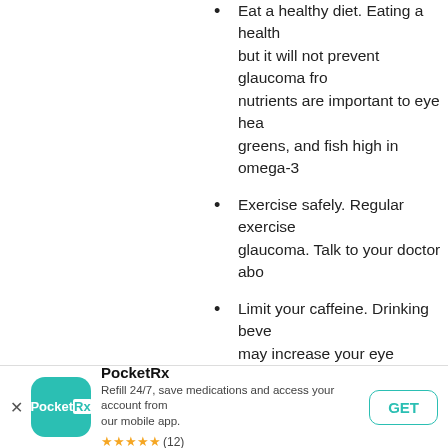Eat a healthy diet. Eating a healthy diet may help, but it will not prevent glaucoma from progressing. Certain nutrients are important to eye health, including green leafy greens, and fish high in omega-3 fatty acids.
Exercise safely. Regular exercise may reduce the risk of glaucoma. Talk to your doctor about an appropriate exercise program.
Limit your caffeine. Drinking beverages high in caffeine may increase your eye pressure.
Sip fluids frequently. Drink only moderate amounts at a time during the course of a day. Drinking large quantities within a short time may temporarily raise eye pressure.
Sleep with your head elevated. Using a wedge pillow keeps head slightly raised, about 20 degrees, which can reduce intraocular eye pressure while you sleep.
PocketRx
Refill 24/7, save medications and access your account from our mobile app.
★★★★★ (12)